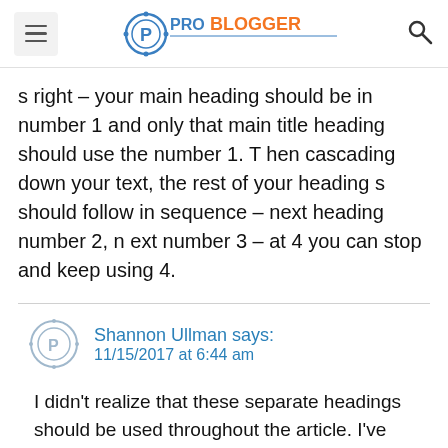ProBlogger
s right – your main heading should be in number 1 and only that main title heading should use the number 1. Then cascading down your text, the rest of your headings should follow in sequence – next heading number 2, next number 3 – at 4 you can stop and keep using 4.
Shannon Ullman says:
11/15/2017 at 6:44 am
I didn't realize that these separate headings should be used throughout the article. I've always just used H2 for all of my headings. I am definitely going to ex